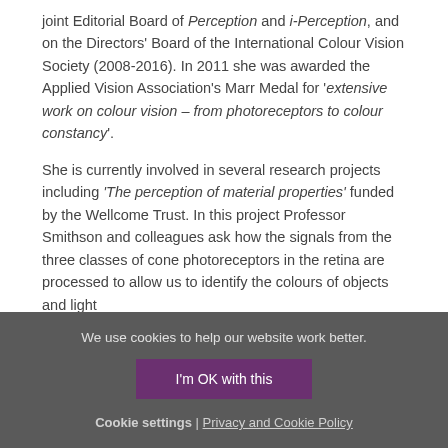joint Editorial Board of Perception and i-Perception, and on the Directors' Board of the International Colour Vision Society (2008-2016). In 2011 she was awarded the Applied Vision Association's Marr Medal for 'extensive work on colour vision – from photoreceptors to colour constancy'.
She is currently involved in several research projects including 'The perception of material properties' funded by the Wellcome Trust. In this project Professor Smithson and colleagues ask how the signals from the three classes of cone photoreceptors in the retina are processed to allow us to identify the colours of objects and light
We use cookies to help our website work better.
I'm OK with this
Cookie settings | Privacy and Cookie Policy